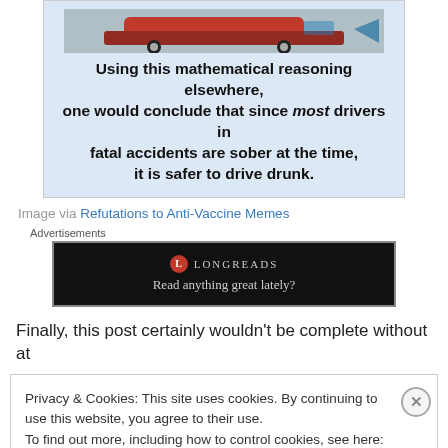[Figure (illustration): Meme image showing a red car on snow/ice with bold text reading: 'Using this mathematical reasoning elsewhere, one would conclude that since most drivers in fatal accidents are sober at the time, it is safer to drive drunk.' on a light blue background.]
Image via Refutations to Anti-Vaccine Memes
Advertisements
[Figure (screenshot): Longreads advertisement banner on black background: 'Read anything great lately?']
Finally, this post certainly wouldn't be complete without at
Privacy & Cookies: This site uses cookies. By continuing to use this website, you agree to their use.
To find out more, including how to control cookies, see here: Cookie Policy
Close and accept